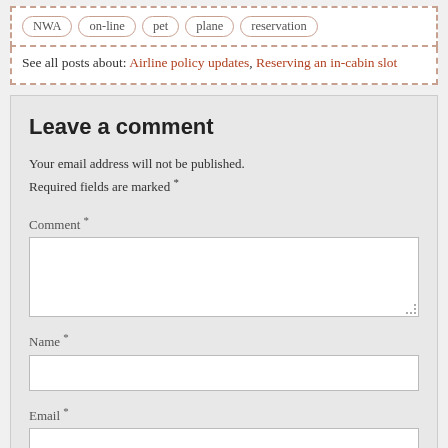NWA   on-line   pet   plane   reservation
See all posts about: Airline policy updates, Reserving an in-cabin slot
Leave a comment
Your email address will not be published. Required fields are marked *
Comment *
Name *
Email *